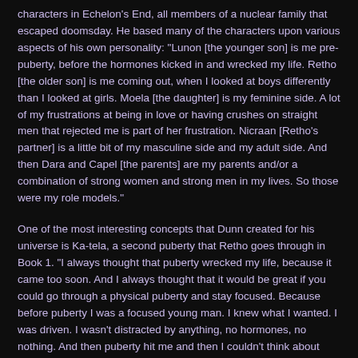characters in Echelon's End, all members of a nuclear family that escaped doomsday. He based many of the characters upon various aspects of his own personality: "Lunon [the younger son] is me pre-puberty, before the hormones kicked in and wrecked my life. Retho [the older son] is me coming out, when I looked at boys differently than I looked at girls. Moela [the daughter] is my feminine side. A lot of my frustrations at being in love or having crushes on straight men that rejected me is part of her frustration. Nicraan [Retho's partner] is a little bit of my masculine side and my adult side. And then Dara and Capel [the parents] are my parents and/or a combination of strong women and strong men in my lives. So those were my role models."
One of the most interesting concepts that Dunn created for his universe is Ka-tela, a second puberty that Retho goes through in Book 1. "I always thought that puberty wrecked my life, because it came too soon. And I always thought that it would be great if you could go through a physical puberty and stay focused. Because before puberty I was a focused young man. I knew what I wanted. I was driven. I wasn't distracted by anything, no hormones, no nothing. And then puberty hit me and then I couldn't think about anything else except men. And I kept getting distracted. Even to this